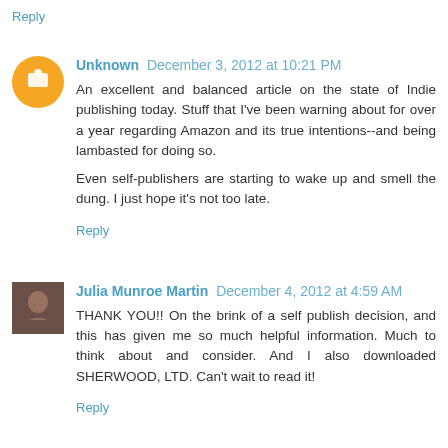Reply
Unknown  December 3, 2012 at 10:21 PM
An excellent and balanced article on the state of Indie publishing today. Stuff that I've been warning about for over a year regarding Amazon and its true intentions--and being lambasted for doing so.

Even self-publishers are starting to wake up and smell the dung. I just hope it's not too late.
Reply
Julia Munroe Martin  December 4, 2012 at 4:59 AM
THANK YOU!! On the brink of a self publish decision, and this has given me so much helpful information. Much to think about and consider. And I also downloaded SHERWOOD, LTD. Can't wait to read it!
Reply